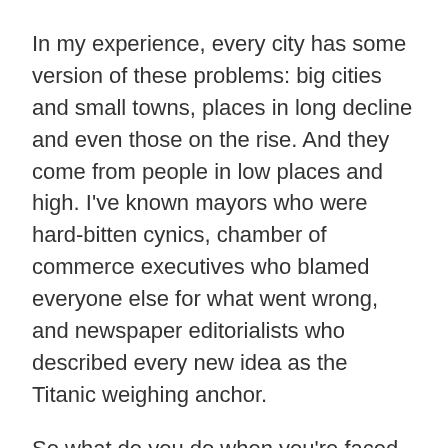In my experience, every city has some version of these problems: big cities and small towns, places in long decline and even those on the rise. And they come from people in low places and high. I've known mayors who were hard-bitten cynics, chamber of commerce executives who blamed everyone else for what went wrong, and newspaper editorialists who described every new idea as the Titanic weighing anchor.
So what do you do when you're faced with such a wall of civic doubt and negativism? I'll get to the things you should do shortly, but let's begin with the things you shouldn't:
Don't become part of the problem. Specifically, don't point fingers at others, don't blame the community